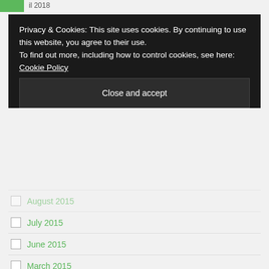il 2018
Privacy & Cookies: This site uses cookies. By continuing to use this website, you agree to their use.
To find out more, including how to control cookies, see here: Cookie Policy
Close and accept
August 2015
July 2015
June 2015
March 2015
CATEGORIES
Business News
META
Log in